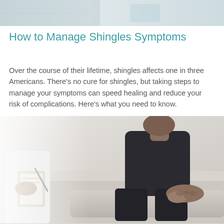[Figure (photo): Partial top banner photo showing a medical or clinical setting, cropped at top of page]
How to Manage Shingles Symptoms
Over the course of their lifetime, shingles affects one in three Americans. There's no cure for shingles, but taking steps to manage your symptoms can speed healing and reduce your risk of complications. Here's what you need to know.
[Figure (photo): Photo of a patient sitting on an examination table with hands clasped together, wearing dark clothing, with a healthcare provider holding a clipboard visible on the left side]